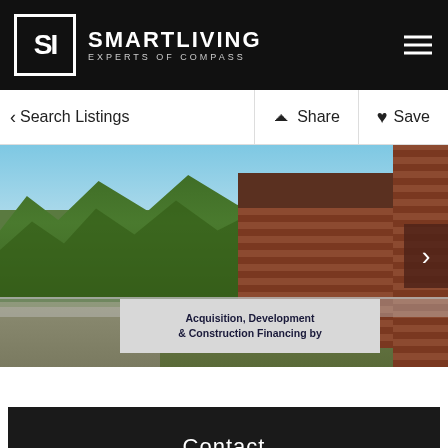SMARTLIVING EXPERTS OF COMPASS
< Search Listings  Share  Save
[Figure (photo): Outdoor photo of a vacant lot with green trees and a brick building on the right side. A construction banner reads 'Acquisition, Development & Construction Financing by'. A chain-link fence is visible in the foreground.]
Contact